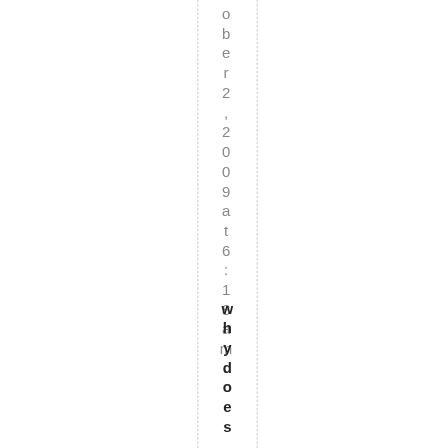ober 2, 2009 at 6:18 am
whydoes ... why